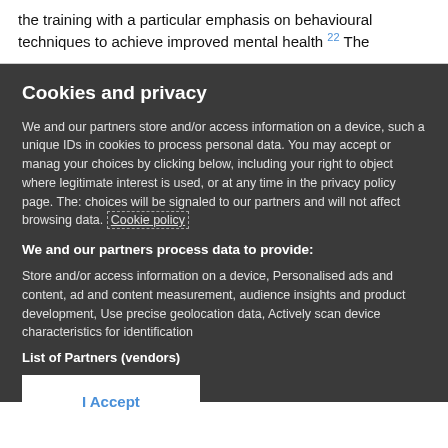the training with a particular emphasis on behavioural techniques to achieve improved mental health 22 The
Cookies and privacy
We and our partners store and/or access information on a device, such as unique IDs in cookies to process personal data. You may accept or manage your choices by clicking below, including your right to object where legitimate interest is used, or at any time in the privacy policy page. These choices will be signaled to our partners and will not affect browsing data. Cookie policy
We and our partners process data to provide:
Store and/or access information on a device, Personalised ads and content, ad and content measurement, audience insights and product development, Use precise geolocation data, Actively scan device characteristics for identification
List of Partners (vendors)
I Accept